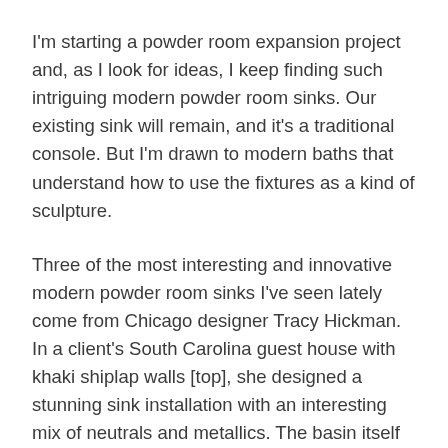I'm starting a powder room expansion project and, as I look for ideas, I keep finding such intriguing modern powder room sinks. Our existing sink will remain, and it's a traditional console. But I'm drawn to modern baths that understand how to use the fixtures as a kind of sculpture.
Three of the most interesting and innovative modern powder room sinks I've seen lately come from Chicago designer Tracy Hickman. In a client's South Carolina guest house with khaki shiplap walls [top], she designed a stunning sink installation with an interesting mix of neutrals and metallics. The basin itself is of a size normally reserved for use in a kitchen — a deep custom metal square with a pronounced lip and incising on the sides. Instead of sinking it in the vanity cabinet, it sits on top. The lowered cabinet acts like a base to help show it off. Another genius idea was to modify the weathered